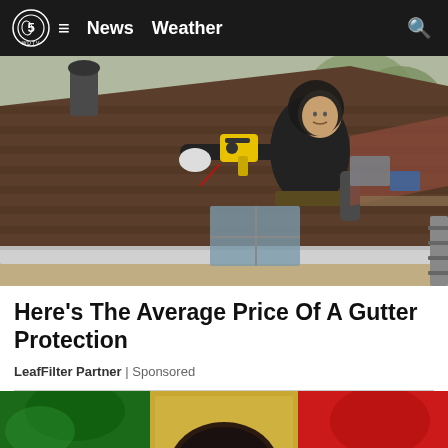WDTV News Weather
[Figure (photo): A worker in a black hoodie installing or inspecting gutters on a rooftop, holding a yellow power tool, with trees in the background]
Here's The Average Price Of A Gutter Protection
LeafFilter Partner | Sponsored
[Figure (photo): Bottom partial photo showing a person with dark hair against a background of green, gold/yellow, and red colors]